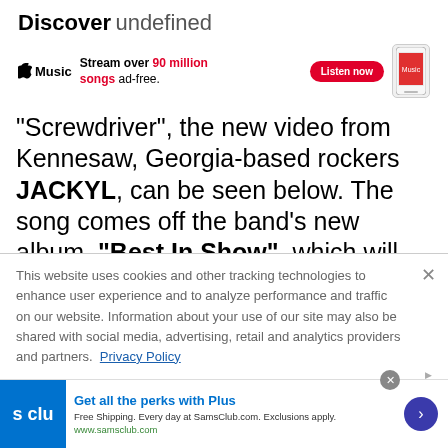Discover undefined
[Figure (infographic): Apple Music advertisement banner: logo, tagline 'Stream over 90 million songs ad-free.', Listen now button, phone image]
"Screwdriver", the new video from Kennesaw, Georgia-based rockers JACKYL, can be seen below. The song comes off the band's new album, "Best In Show", which will be released on July 31 via Mighty Loud Entertainment, with
This website uses cookies and other tracking technologies to enhance user experience and to analyze performance and traffic on our website. Information about your use of our site may also be shared with social media, advertising, retail and analytics providers and partners. Privacy Policy
[Figure (infographic): Sam's Club advertisement: logo, 'Get all the perks with Plus', Free Shipping. Every day at SamsClub.com. Exclusions apply. www.samsclub.com]